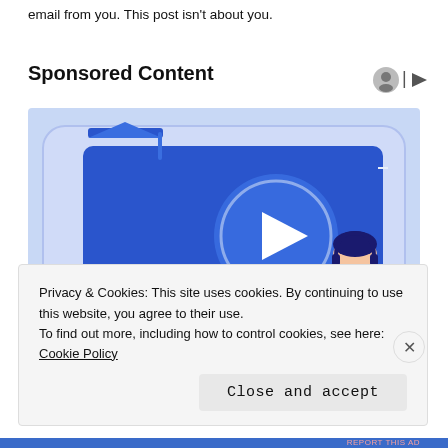email from you. This post isn't about you.
Sponsored Content
[Figure (illustration): Illustration of a video player interface with a play button, a progress bar, and a person sitting with a laptop wearing headphones. A graduation cap is visible in the top-left corner. Blue color scheme.]
Privacy & Cookies: This site uses cookies. By continuing to use this website, you agree to their use.
To find out more, including how to control cookies, see here: Cookie Policy
Close and accept